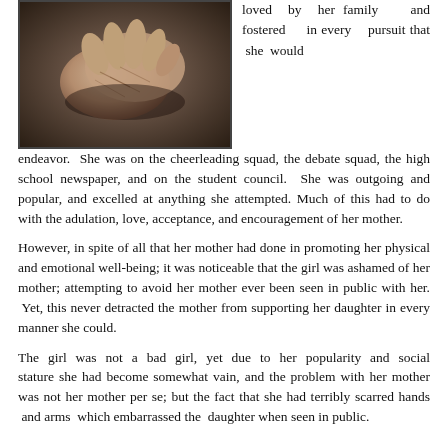[Figure (photo): Close-up photograph of scarred or aged hands clasped together against a dark background.]
loved by her family and fostered in every pursuit that she would endeavor. She was on the cheerleading squad, the debate squad, the high school newspaper, and on the student council. She was outgoing and popular, and excelled at anything she attempted. Much of this had to do with the adulation, love, acceptance, and encouragement of her mother.
However, in spite of all that her mother had done in promoting her physical and emotional well-being; it was noticeable that the girl was ashamed of her mother; attempting to avoid her mother ever been seen in public with her. Yet, this never detracted the mother from supporting her daughter in every manner she could.
The girl was not a bad girl, yet due to her popularity and social stature she had become somewhat vain, and the problem with her mother was not her mother per se; but the fact that she had terribly scarred hands and arms which embarrassed the daughter when seen in public.